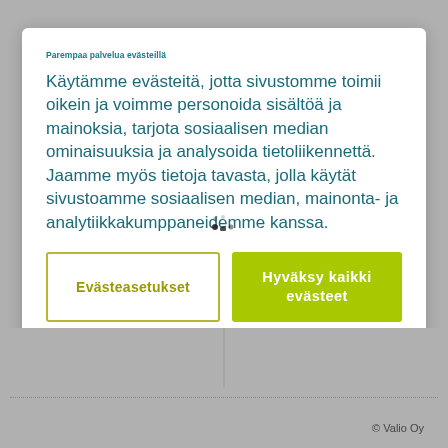Parempaa palvelua evästeillä
Käytämme evästeitä, jotta sivustomme toimii oikein ja voimme personoida sisältöä ja mainoksia, tarjota sosiaalisen median ominaisuuksia ja analysoida tietoliikennettä. Jaamme myös tietoja tavasta, jolla käytät sivustoamme sosiaalisen median, mainonta- ja analytiikkakumppaneidemme kanssa.
Evästeasetukset
Hyväksy kaikki evästeet
© Valio Oy